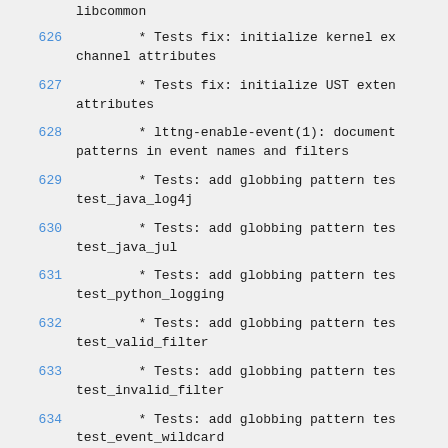libcommon
626        * Tests fix: initialize kernel ex channel attributes
627        * Tests fix: initialize UST exten attributes
628        * lttng-enable-event(1): document patterns in event names and filters
629        * Tests: add globbing pattern tes test_java_log4j
630        * Tests: add globbing pattern tes test_java_jul
631        * Tests: add globbing pattern tes test_python_logging
632        * Tests: add globbing pattern tes test_valid_filter
633        * Tests: add globbing pattern tes test_invalid_filter
634        * Tests: add globbing pattern tes test_event_wildcard